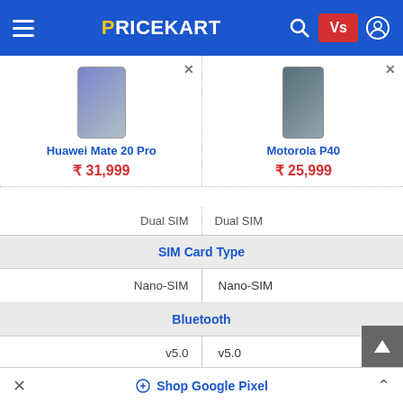PRICEKART — navigation bar with hamburger, logo, search, Vs, user icons
| Huawei Mate 20 Pro | Motorola P40 |
| --- | --- |
| ₹31,999 | ₹25,999 |
| Dual SIM | Dual SIM |
| SIM Card Type |  |
| Nano-SIM | Nano-SIM |
| Bluetooth |  |
| v5.0 | v5.0 |
| 3.5 mm Jack |  |
| N/A | Yes |
| VoLTE |  |
Shop Google Pixel